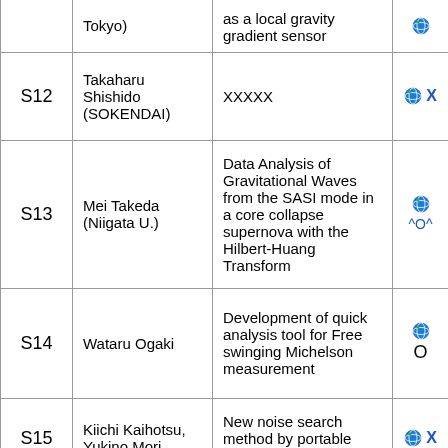| ID | Author | Title | Links |
| --- | --- | --- | --- |
|  | Tokyo) | as a local gravity gradient sensor | 🌐 |
| S12 | Takaharu Shishido (SOKENDAI) | XXXXX | 🌐 X |
| S13 | Mei Takeda (Niigata U.) | Data Analysis of Gravitational Waves from the SASI mode in a core collapse supernova with the Hilbert-Huang Transform | 🌐 ^O^ |
| S14 | Wataru Ogaki | Development of quick analysis tool for Free swinging Michelson measurement | 🌐 O |
| S15 | Kiichi Kaihotsu, Yukino Mori | New noise search method by portable PEMs | 🌐 X |
| C01 | Ayaka Shoda (NAOJ) | VIS tools for commissioning | 🌐 O |